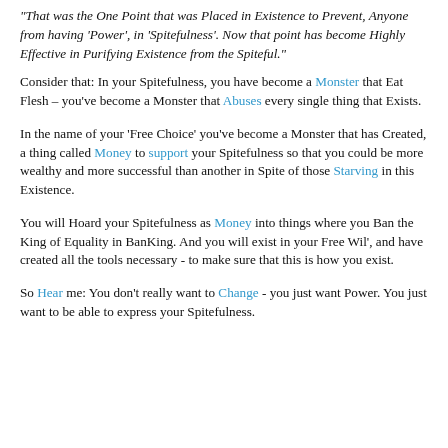"That was the One Point that was Placed in Existence to Prevent, Anyone from having 'Power', in 'Spitefulness'. Now that point has become Highly Effective in Purifying Existence from the Spiteful."
Consider that: In your Spitefulness, you have become a Monster that Eat Flesh – you've become a Monster that Abuses every single thing that Exists.
In the name of your 'Free Choice' you've become a Monster that has Created, a thing called Money to support your Spitefulness so that you could be more wealthy and more successful than another in Spite of those Starving in this Existence.
You will Hoard your Spitefulness as Money into things where you Ban the King of Equality in BanKing. And you will exist in your Free Wil', and have created all the tools necessary - to make sure that this is how you exist.
So Hear me: You don't really want to Change - you just want Power. You just want to be able to express your Spitefulness.